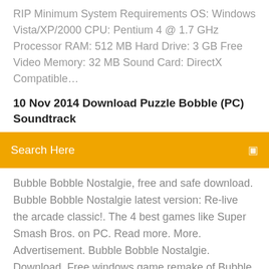RIP Minimum System Requirements OS: Windows Vista/XP/2000 CPU: Pentium 4 @ 1.7 GHz Processor RAM: 512 MB Hard Drive: 3 GB Free Video Memory: 32 MB Sound Card: DirectX Compatible…
10 Nov 2014 Download Puzzle Bobble (PC) Soundtrack
Search Here
Bubble Bobble Nostalgie, free and safe download. Bubble Bobble Nostalgie latest version: Re-live the arcade classic!. The 4 best games like Super Smash Bros. on PC. Read more. More. Advertisement. Bubble Bobble Nostalgie. Download  Free windows game remake of Bubble Bobble by Armin Rigo & IMA. Original by Taito in 1986. Download and play! Puzzle Bobble, conosciuto in Europa come Bust-a-Move, è un Gioco Rompicapo pubblicato da GameBank Corp. nel 1995 per piattaforma DOS e SNES. 16 Oct 2016 Bubble Bobble - Get it on GamesNostalgia - Bubble Bobble is not only one of the Bubble Bobble is not only